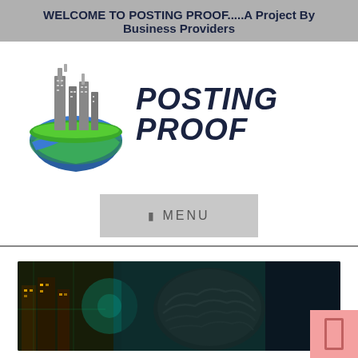WELCOME TO POSTING PROOF.....A Project By Business Providers
[Figure (logo): Globe with city buildings logo next to 'POSTING PROOF' text in dark navy handwritten-style font]
☰  MENU
[Figure (photo): Dark banner image showing a futuristic city with circuit board elements and a large metallic brain or sphere in the center]